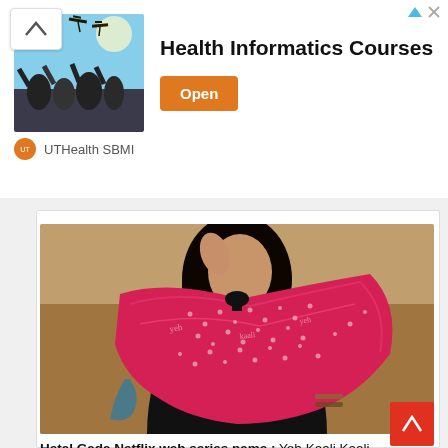[Figure (photo): Advertisement banner with graduation caps photo, Health Informatics Courses text, Open button, and UTHealth SBMI branding]
[Figure (photo): Woman wearing black outfit with pink/red bandhani dupatta scarf, standing outdoors]
Hetal Gada Netflix web series name : Yeh Kaali Kaali Ankhein